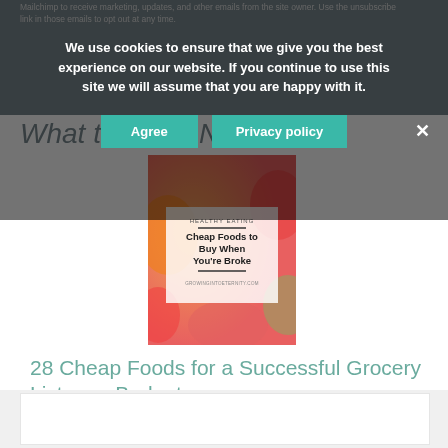Mailchimp to receive marketing, updates, and other emails from the site owner. Use the unsubscribe link in those emails to opt out at any time.
We use cookies to ensure that we give you the best experience on our website. If you continue to use this site we will assume that you are happy with it.
Agree   Privacy policy
What to Read Next
[Figure (photo): Article thumbnail image for 'Cheap Foods to Buy When You're Broke' from growingintoeternity.com showing colorful fruits with a text overlay on white background. Labeled HEALTHY EATING at top.]
28 Cheap Foods for a Successful Grocery List on a Budget